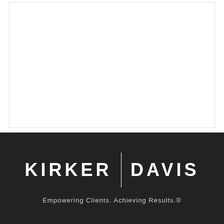[Figure (logo): Kirker Davis law firm logo with firm name in large white uppercase letters separated by a vertical bar divider, and tagline below reading 'Empowering Clients. Achieving Results.®']